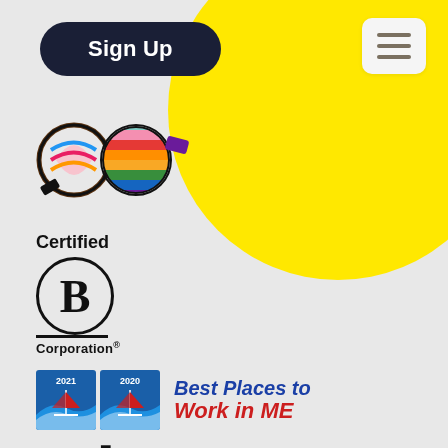[Figure (illustration): Dark navy pill-shaped Sign Up button]
[Figure (illustration): Hamburger menu icon on light rounded square background]
[Figure (illustration): Yellow decorative circle in upper right corner]
[Figure (logo): Colorful pride/diversity themed iBec Creative logo with rainbow colors]
Certified
[Figure (logo): Certified B Corporation logo - letter B in circle with line underneath and Corporation text]
[Figure (logo): Best Places to Work in ME badges for 2021 and 2020, with sailboat imagery and blue/red text]
[Figure (logo): Women Owned logo in large bold black text with decorative dot pattern replacing the O]
iBec Creative
177 High Street